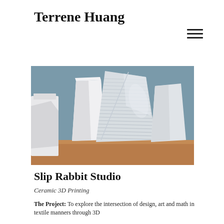Terrene Huang
[Figure (photo): Photograph of white ceramic 3D-printed vases with twisted, ridged forms on a wooden surface against a blue-grey background]
Slip Rabbit Studio
Ceramic 3D Printing
The Project: To explore the intersection of design, art and math in textile manners through 3D